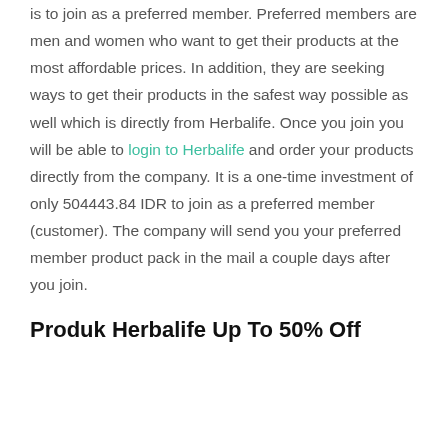is to join as a preferred member. Preferred members are men and women who want to get their products at the most affordable prices. In addition, they are seeking ways to get their products in the safest way possible as well which is directly from Herbalife. Once you join you will be able to login to Herbalife and order your products directly from the company. It is a one-time investment of only 504443.84 IDR to join as a preferred member (customer). The company will send you your preferred member product pack in the mail a couple days after you join.
Produk Herbalife Up To 50% Off